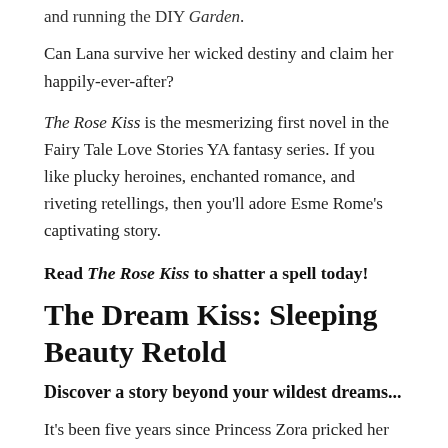and running the DIY Garden.
Can Lana survive her wicked destiny and claim her happily-ever-after?
The Rose Kiss is the mesmerizing first novel in the Fairy Tale Love Stories YA fantasy series. If you like plucky heroines, enchanted romance, and riveting retellings, then you'll adore Esme Rome's captivating story.
Read The Rose Kiss to shatter a spell today!
The Dream Kiss: Sleeping Beauty Retold
Discover a story beyond your wildest dreams...
It's been five years since Princess Zora pricked her finger